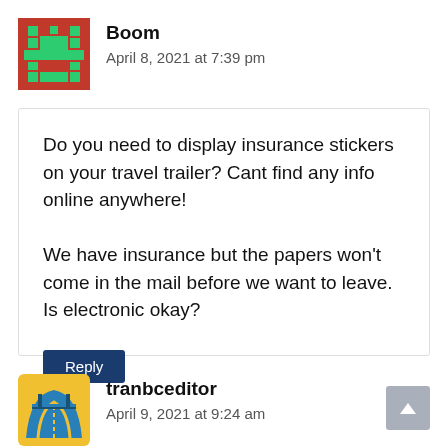[Figure (illustration): Red and teal pixel-art avatar for user 'Boom']
Boom
April 8, 2021 at 7:39 pm
Do you need to display insurance stickers on your travel trailer? Cant find any info online anywhere!

We have insurance but the papers won't come in the mail before we want to leave. Is electronic okay?
[Figure (illustration): Yellow and blue road/bridge logo avatar for user 'tranbceditor']
tranbceditor
April 9, 2021 at 9:24 am